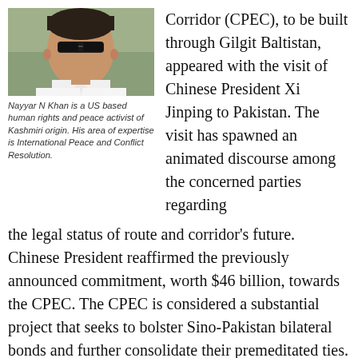[Figure (photo): Portrait photo of Nayyar N Khan, a man wearing sunglasses and a white shirt, with a green landscape in the background.]
Nayyar N Khan is a US based human rights and peace activist of Kashmiri origin. His area of expertise is International Peace and Conflict Resolution.
Corridor (CPEC), to be built through Gilgit Baltistan, appeared with the visit of Chinese President Xi Jinping to Pakistan. The visit has spawned an animated discourse among the concerned parties regarding the legal status of route and corridor's future. Chinese President reaffirmed the previously announced commitment, worth $46 billion, towards the CPEC. The CPEC is considered a substantial project that seeks to bolster Sino-Pakistan bilateral bonds and further consolidate their premeditated ties. The corridor will run through Gilgit Baltistan, part of the erstwhile Princely state of Jammu Kashmir declared disputed by the United Nations and accepted by both India and Pakistan. In due course, this geographical reality of the CPEC could potentially impinge upon Jammu Kashmir's geopolitical calculations, territorial integrity, promised referendum under